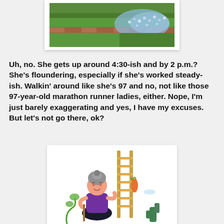[Figure (photo): Photo of a garden with green grass and a border of small white/blue flowers along a brick or stone edging]
Uh, no. She gets up around 4:30-ish and by 2 p.m.? She's floundering, especially if she's worked steady-ish. Walkin' around like she's 97 and no, not like those 97-year-old marathon runner ladies, either. Nope, I'm just barely exaggerating and yes, I have my excuses. But let's not go there, ok?
[Figure (illustration): Cartoon illustration of an elderly woman with gray hair in a bun, wearing a purple top, gardening near a wooden trellis/ladder with plants and a trowel]